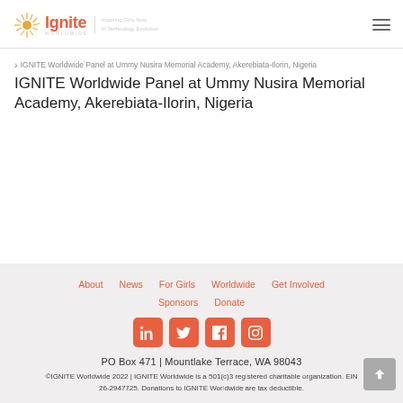IGNITE Worldwide — Inspiring Girls Now In Technology Evolution
IGNITE Worldwide Panel at Ummy Nusira Memorial Academy, Akerebiata-Ilorin, Nigeria
About | News | For Girls | Worldwide | Get Involved | Sponsors | Donate | PO Box 471 | Mountlake Terrace, WA 98043 | ©IGNITE Worldwide 2022 | IGNITE Worldwide is a 501(c)3 registered charitable organization. EIN 26-2947725. Donations to IGNITE Worldwide are tax deductible.